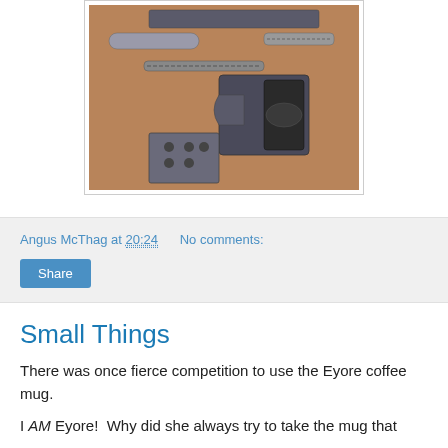[Figure (photo): Disassembled pistol laid out on a wooden surface showing frame, barrel, slide, magazine, and recoil spring components]
Angus McThag at 20:24   No comments:
Share
Small Things
There was once fierce competition to use the Eyore coffee mug.
I AM Eyore!  Why did she always try to take the mug that